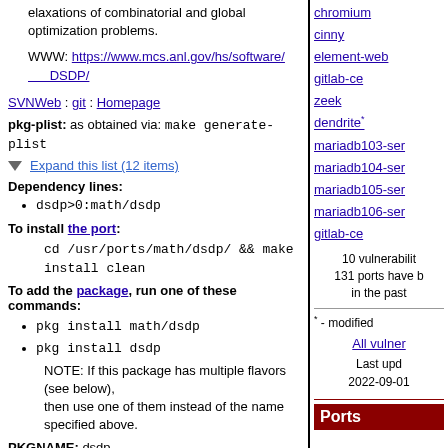elaxations of combinatorial and global optimization problems.
WWW: https://www.mcs.anl.gov/hs/software/DSDP/
SVNWeb : git : Homepage
pkg-plist: as obtained via: make generate-plist
Expand this list (12 items)
Dependency lines:
dsdp>0:math/dsdp
To install the port:
cd /usr/ports/math/dsdp/ && make install clean
To add the package, run one of these commands:
pkg install math/dsdp
pkg install dsdp
NOTE: If this package has multiple flavors (see below), then use one of them instead of the name specified above.
PKGNAME: dsdp
Flavors: there is no flavor information for this port.
distinfo:
TIMESTAMP = 1540788627
chromium
cinny
element-web
gitlab-ce
zeek
dendrite*
mariadb103-ser...
mariadb104-ser...
mariadb105-ser...
mariadb106-ser...
gitlab-ce
10 vulnerabilities 131 ports have b... in the past...
* - modified
All vulner...
Last upd... 2022-09-01...
Ports